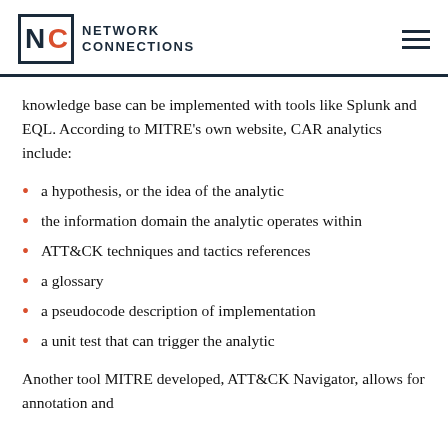NETWORK CONNECTIONS
knowledge base can be implemented with tools like Splunk and EQL. According to MITRE’s own website, CAR analytics include:
a hypothesis, or the idea of the analytic
the information domain the analytic operates within
ATT&CK techniques and tactics references
a glossary
a pseudocode description of implementation
a unit test that can trigger the analytic
Another tool MITRE developed, ATT&CK Navigator, allows for annotation and